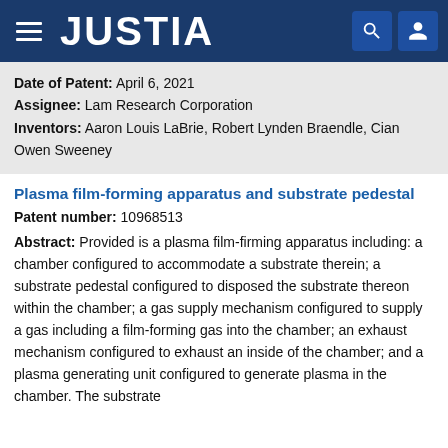JUSTIA
Date of Patent: April 6, 2021
Assignee: Lam Research Corporation
Inventors: Aaron Louis LaBrie, Robert Lynden Braendle, Cian Owen Sweeney
Plasma film-forming apparatus and substrate pedestal
Patent number: 10968513
Abstract: Provided is a plasma film-firming apparatus including: a chamber configured to accommodate a substrate therein; a substrate pedestal configured to disposed the substrate thereon within the chamber; a gas supply mechanism configured to supply a gas including a film-forming gas into the chamber; an exhaust mechanism configured to exhaust an inside of the chamber; and a plasma generating unit configured to generate plasma in the chamber. The substrate